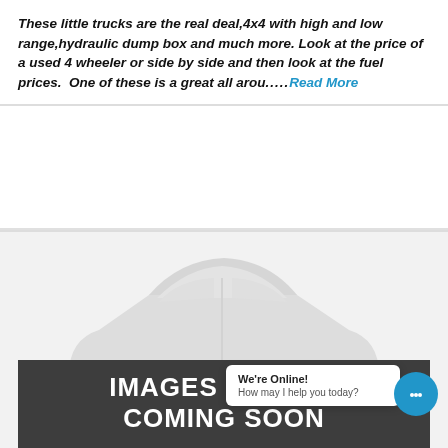These little trucks are the real deal,4x4 with high and low range,hydraulic dump box and much more. Look at the price of a used 4 wheeler or side by side and then look at the fuel prices.  One of these is a great all arou…..Read More
[Figure (photo): Gray silhouette placeholder image of a car/sedan with 'IMAGES COMING SOON' text overlay on dark banner, a chat bubble saying 'We're Online! How may I help you today?', an orange scroll-up button, and a blue chat icon button.]